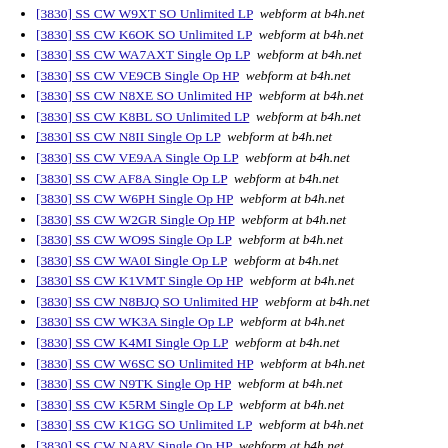[3830] SS CW W9XT SO Unlimited LP  webform at b4h.net
[3830] SS CW K6OK SO Unlimited LP  webform at b4h.net
[3830] SS CW WA7AXT Single Op LP  webform at b4h.net
[3830] SS CW VE9CB Single Op HP  webform at b4h.net
[3830] SS CW N8XE SO Unlimited HP  webform at b4h.net
[3830] SS CW K8BL SO Unlimited LP  webform at b4h.net
[3830] SS CW N8II Single Op LP  webform at b4h.net
[3830] SS CW VE9AA Single Op LP  webform at b4h.net
[3830] SS CW AF8A Single Op LP  webform at b4h.net
[3830] SS CW W6PH Single Op HP  webform at b4h.net
[3830] SS CW W2GR Single Op HP  webform at b4h.net
[3830] SS CW WO9S Single Op LP  webform at b4h.net
[3830] SS CW WA0I Single Op LP  webform at b4h.net
[3830] SS CW K1VMT Single Op HP  webform at b4h.net
[3830] SS CW N8BJQ SO Unlimited HP  webform at b4h.net
[3830] SS CW WK3A Single Op LP  webform at b4h.net
[3830] SS CW K4MI Single Op LP  webform at b4h.net
[3830] SS CW W6SC SO Unlimited HP  webform at b4h.net
[3830] SS CW N9TK Single Op HP  webform at b4h.net
[3830] SS CW K5RM Single Op LP  webform at b4h.net
[3830] SS CW K1GG SO Unlimited LP  webform at b4h.net
[3830] SS CW NA8V Single Op HP  webform at b4h.net